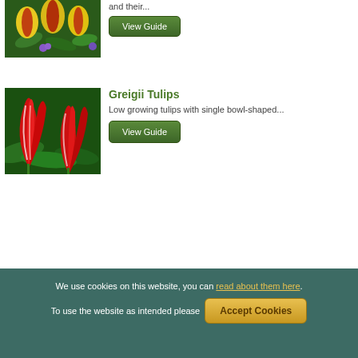[Figure (photo): Yellow and red tulips with purple flowers in background]
and their...
View Guide
[Figure (photo): Red and white Greigii tulips with dramatic pointed petals]
Greigii Tulips
Low growing tulips with single bowl-shaped...
View Guide
We use cookies on this website, you can read about them here. To use the website as intended please
Accept Cookies